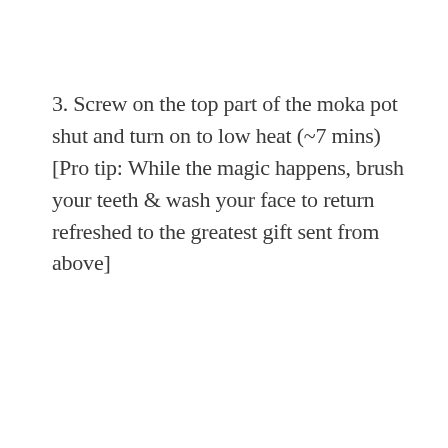3. Screw on the top part of the moka pot shut and turn on to low heat (~7 mins) [Pro tip: While the magic happens, brush your teeth & wash your face to return refreshed to the greatest gift sent from above]